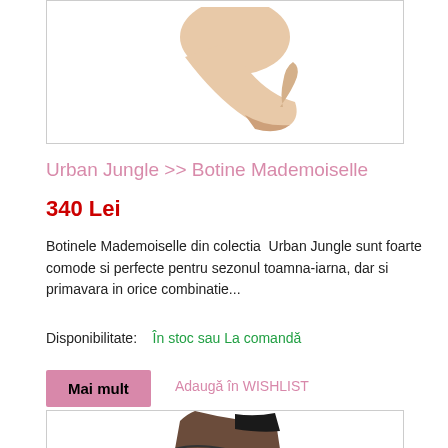[Figure (photo): Top portion of a beige/nude high heel shoe product photo, cropped at top]
Urban Jungle >> Botine Mademoiselle
340  Lei
Botinele Mademoiselle din colectia  Urban Jungle sunt foarte comode si perfecte pentru sezonul toamna-iarna, dar si primavara in orice combinatie...
Disponibilitate:    În stoc sau La comandă
Mai mult
Adaugă în WISHLIST
[Figure (photo): Bottom portion of brown/black ankle boot product photo, partially visible]